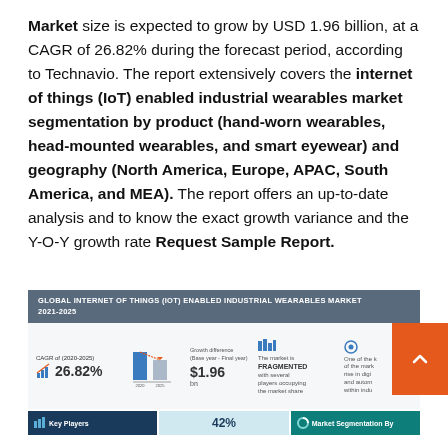Market size is expected to grow by USD 1.96 billion, at a CAGR of 26.82% during the forecast period, according to Technavio. The report extensively covers the internet of things (IoT) enabled industrial wearables market segmentation by product (hand-worn wearables, head-mounted wearables, and smart eyewear) and geography (North America, Europe, APAC, South America, and MEA). The report offers an up-to-date analysis and to know the exact growth variance and the Y-O-Y growth rate Request Sample Report.
[Figure (infographic): Global Internet of Things (IoT) Enabled Industrial Wearables Market 2021-2025 infographic showing CAGR of 26.82%, growth difference of $1.96bn, fragmented market, and key highlights with bottom strip showing Key Players, 42%, and Market Segmentation By sections.]